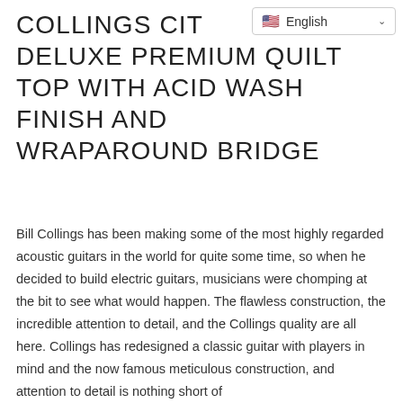COLLINGS CIT DELUXE PREMIUM QUILT TOP WITH ACID WASH FINISH AND WRAPAROUND BRIDGE
[Figure (screenshot): Language selector widget showing US flag and 'English' with dropdown arrow]
Bill Collings has been making some of the most highly regarded acoustic guitars in the world for quite some time, so when he decided to build electric guitars, musicians were chomping at the bit to see what would happen. The flawless construction, the incredible attention to detail, and the Collings quality are all here. Collings has redesigned a classic guitar with players in mind and the now famous meticulous construction, and attention to detail is nothing short of